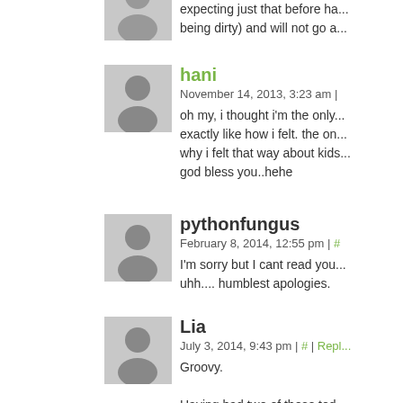expecting just that before ha... being dirty) and will not go a...
hani
November 14, 2013, 3:23 am |
oh my, i thought i'm the only... exactly like how i felt. the on... why i felt that way about kids... god bless you..hehe
pythonfungus
February 8, 2014, 12:55 pm | #
I'm sorry but I cant read you... uhh.... humblest apologies.
Lia
July 3, 2014, 9:43 pm | # | Repl...
Groovy.
Having had two of these tod... two years – if that long. As a... that's happened to me and m... unless I were swimming in e... cuteness and promises of b... world, then we can't hold it o...